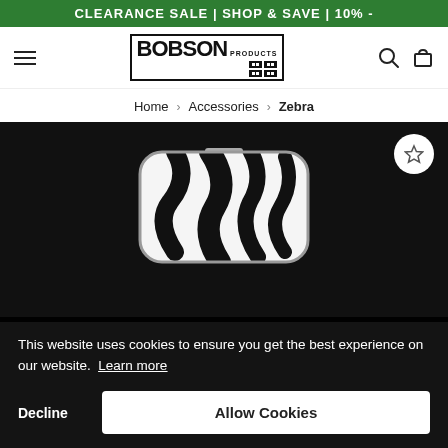CLEARANCE SALE | SHOP & SAVE | 10% -
[Figure (screenshot): Bobson Products logo with hamburger menu, search and cart icons navigation bar]
Home > Accessories > Zebra
[Figure (photo): A compact mirror with black and white zebra print pattern on dark background, with a white circular star/wishlist button overlay]
This website uses cookies to ensure you get the best experience on our website. Learn more
Decline   Allow Cookies